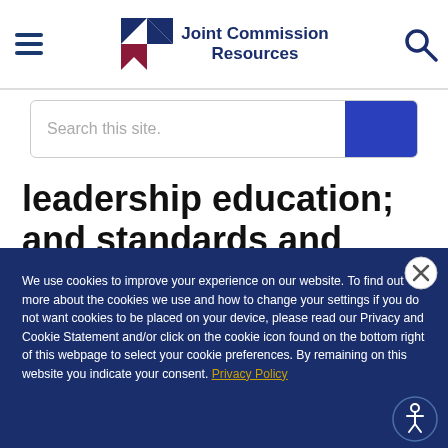Joint Commission Resources
Search this site.
leadership education; and standards and survey process education and
We use cookies to improve your experience on our website. To find out more about the cookies we use and how to change your settings if you do not want cookies to be placed on your device, please read our Privacy and Cookie Statement and/or click on the cookie icon found on the bottom right of this webpage to select your cookie preferences. By remaining on this website you indicate your consent. Privacy Policy